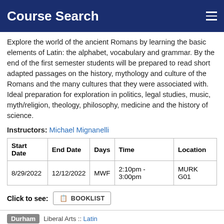Course Search
Explore the world of the ancient Romans by learning the basic elements of Latin: the alphabet, vocabulary and grammar. By the end of the first semester students will be prepared to read short adapted passages on the history, mythology and culture of the Romans and the many cultures that they were associated with. Ideal preparation for exploration in politics, legal studies, music, myth/religion, theology, philosophy, medicine and the history of science.
Instructors: Michael Mignanelli
| Start Date | End Date | Days | Time | Location |
| --- | --- | --- | --- | --- |
| 8/29/2022 | 12/12/2022 | MWF | 2:10pm - 3:00pm | MURK G01 |
Click to see: BOOKLIST
Durham  Liberal Arts :: Latin
SAVE THIS COURSE
LATN 401 (03) - ELEMENTARY LATIN I
ELEMENTARY LATIN I